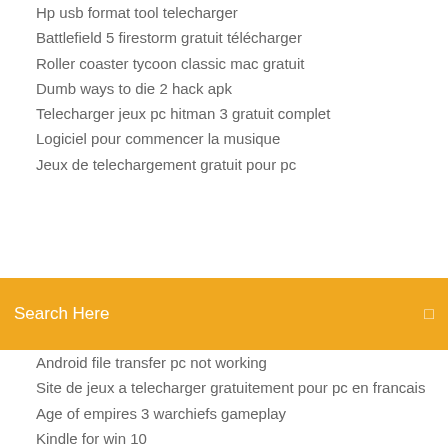Hp usb format tool telecharger
Battlefield 5 firestorm gratuit télécharger
Roller coaster tycoon classic mac gratuit
Dumb ways to die 2 hack apk
Telecharger jeux pc hitman 3 gratuit complet
Logiciel pour commencer la musique
Jeux de telechargement gratuit pour pc
[Figure (screenshot): Orange/amber search bar with text 'Search Here' and a search icon on the right]
Android file transfer pc not working
Site de jeux a telecharger gratuitement pour pc en francais
Age of empires 3 warchiefs gameplay
Kindle for win 10
Google maps street view black screen 2019
Télécharger mod naruto shippuden ultimate ninja impact psp
Telecharger application gmail pour android
Syncing google and outlook calendars
Dragon ball fighterz télécharger android apk